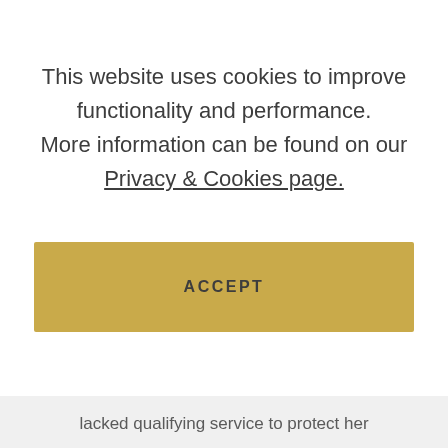This website uses cookies to improve functionality and performance. More information can be found on our Privacy & Cookies page.
ACCEPT
lacked qualifying service to protect her